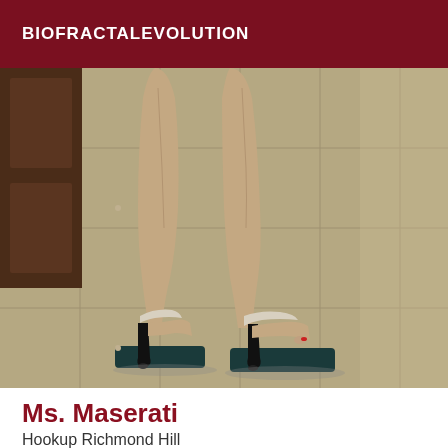BIOFRACTALEVOLUTION
[Figure (photo): Close-up photo of a person's feet and lower legs wearing very high platform stiletto heels (tall black platform mules with stiletto heels), standing on a tiled floor. A wooden door/cabinet is visible in the background on the left.]
Ms. Maserati
Hookup Richmond Hill